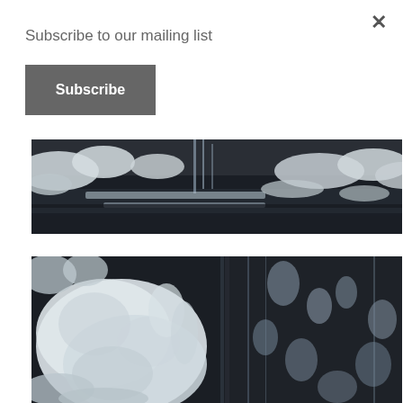Subscribe to our mailing list
×
Subscribe
[Figure (photo): Winter waterfall scene with snow and dark wet rocks, wide panoramic view]
[Figure (photo): Close-up of frozen waterfall with large ice formations on left and rushing water on dark rocks on right]